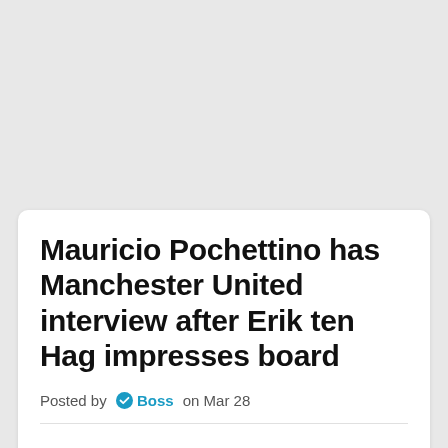Mauricio Pochettino has Manchester United interview after Erik ten Hag impresses board
Posted by Boss on Mar 28